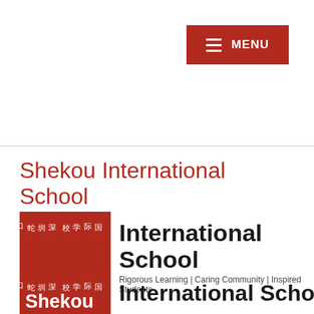[Figure (logo): Red MENU button with hamburger icon in top-right corner]
Shekou International School
[Figure (logo): Shekou International School logo: red square with Chinese characters and 'Shekou' text, followed by 'International School' and tagline 'Rigorous Learning | Caring Community | Inspired Students']
[Figure (logo): Second instance of Shekou International School logo partially visible, red square with Chinese characters and 'Shekou' text, followed by 'International Schoo' text cut off]